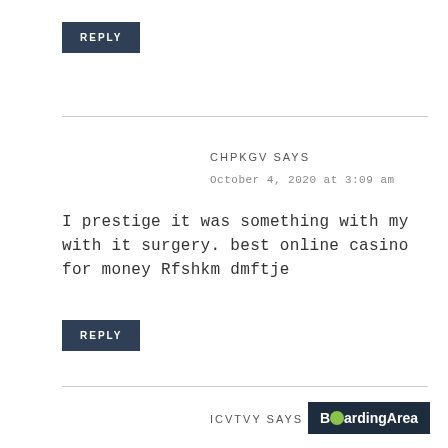REPLY
CHPKGV SAYS
October 4, 2020 at 3:09 am
I prestige it was something with my with it surgery. best online casino for money Rfshkm dmftje
REPLY
ICVTVY SAYS
[Figure (logo): BoardingArea logo — dark navy background with white text and a green speech bubble dot replacing the 'o' in Boarding]